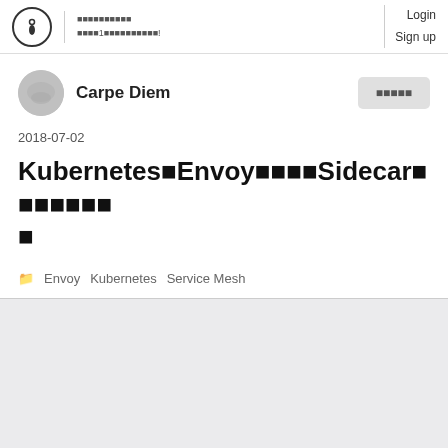Login Sign up
Carpe Diem
フォローする
2018-07-02
KubernetesのEnvoyを使ったSidecarパターンの実装
Envoy   Kubernetes   Service Mesh